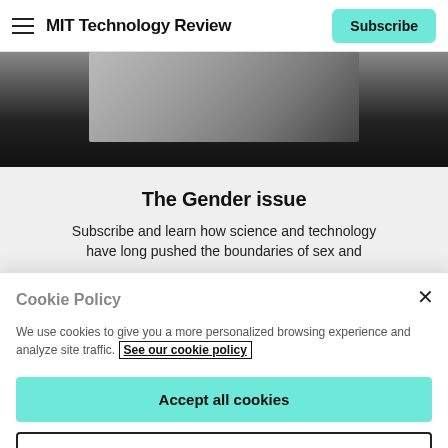MIT Technology Review | Subscribe
[Figure (photo): Grayscale photo partially visible behind website header and overlaid content]
The Gender issue
Subscribe and learn how science and technology have long pushed the boundaries of sex and
Cookie Policy
We use cookies to give you a more personalized browsing experience and analyze site traffic. See our cookie policy
Accept all cookies
Cookies settings